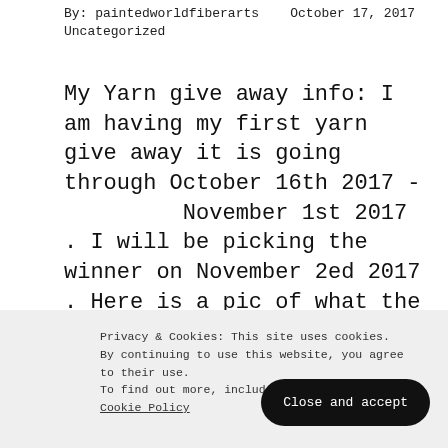By: paintedworldfiberarts   October 17, 2017
Uncategorized
My Yarn give away info: I am having my first yarn give away it is going through October 16th 2017 -         November 1st 2017 . I will be picking the winner on November 2ed 2017 . Here is a pic of what the yarn looks like: If you are interested in…
Privacy & Cookies: This site uses cookies. By continuing to use this website, you agree to their use. To find out more, including how to co… Cookie Policy
Close and accept